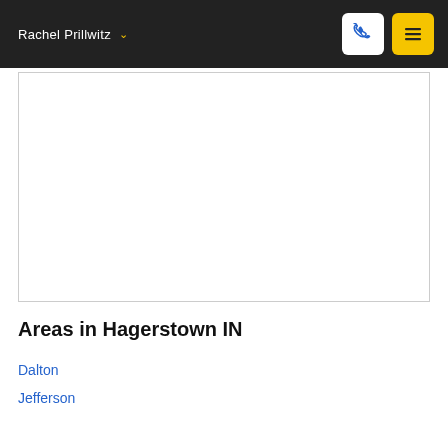Rachel Prillwitz ▾
[Figure (map): Embedded map showing Hagerstown IN area, white/blank background]
Areas in Hagerstown IN
Dalton
Jefferson